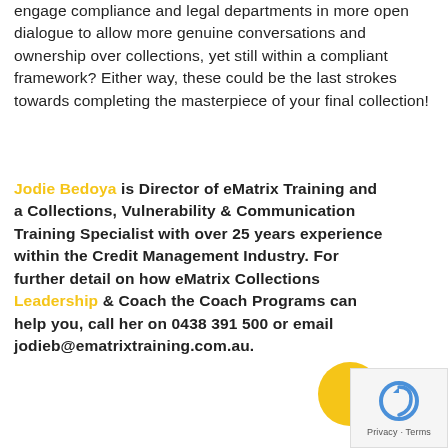engage compliance and legal departments in more open dialogue to allow more genuine conversations and ownership over collections, yet still within a compliant framework? Either way, these could be the last strokes towards completing the masterpiece of your final collection!
Jodie Bedoya is Director of eMatrix Training and a Collections, Vulnerability & Communication Training Specialist with over 25 years experience within the Credit Management Industry. For further detail on how eMatrix Collections Leadership & Coach the Coach Programs can help you, call her on 0438 391 500 or email jodieb@ematrixtraining.com.au.